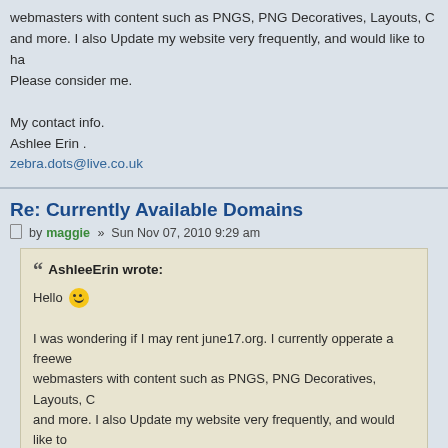webmasters with content such as PNGS, PNG Decoratives, Layouts, C and more. I also Update my website very frequently, and would like to ha Please consider me.

My contact info.
Ashlee Erin .
zebra.dots@live.co.uk
Re: Currently Available Domains
by maggie » Sun Nov 07, 2010 9:29 am
AshleeErin wrote:
Hello

I was wondering if I may rent june17.org. I currently opperate a freewe webmasters with content such as PNGS, PNG Decoratives, Layouts, C and more. I also Update my website very frequently, and would like to Please consider me.

My contact info.
Ashlee Erin .
zebra.dots@live.co.uk